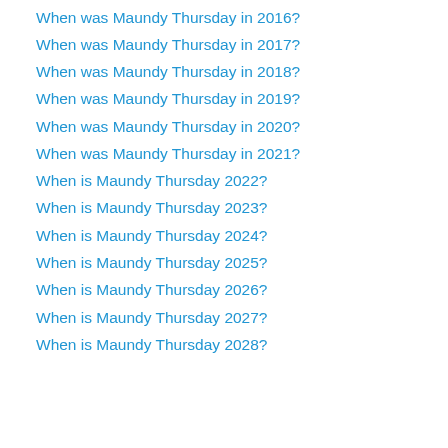When was Maundy Thursday in 2016?
When was Maundy Thursday in 2017?
When was Maundy Thursday in 2018?
When was Maundy Thursday in 2019?
When was Maundy Thursday in 2020?
When was Maundy Thursday in 2021?
When is Maundy Thursday 2022?
When is Maundy Thursday 2023?
When is Maundy Thursday 2024?
When is Maundy Thursday 2025?
When is Maundy Thursday 2026?
When is Maundy Thursday 2027?
When is Maundy Thursday 2028?